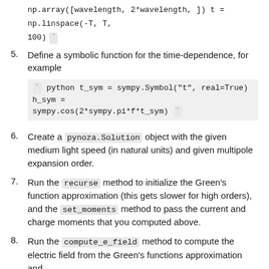np.array([wavelength, 2*wavelength, ]) t = np.linspace(-T, T, 100) `
5. Define a symbolic function for the time-dependence, for example
` python t_sym = sympy.Symbol("t", real=True) h_sym = sympy.cos(2*sympy.pi*f*t_sym) `
6. Create a pynoza.Solution object with the given medium light speed (in natural units) and given multipole expansion order.
7. Run the recurse method to initialize the Green's function approximation (this gets slower for high orders), and the set_moments method to pass the current and charge moments that you computed above.
8. Run the compute_e_field method to compute the electric field from the Green's functions approximation and